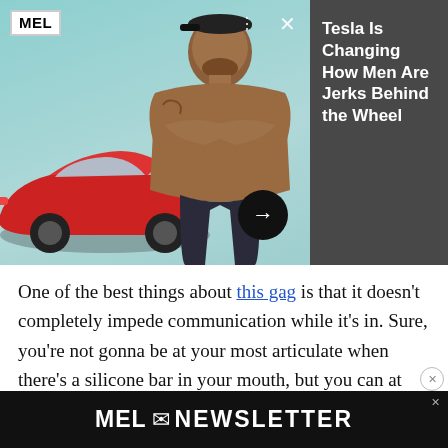[Figure (screenshot): MEL magazine advertisement banner showing a red Tesla car on the left, a shirtless tattooed man in a baseball cap with arms crossed in the center, an X close button, and a forward arrow button. Right side shows dark gray text area with headline.]
Tesla Is Changing How Men Are Jerks Behind the Wheel
One of the best things about this gag is that it doesn’t completely impede communication while it’s in. Sure, you’re not gonna be at your most articulate when there’s a silicone bar in your mouth, but you can at least mumble a muffled safeword if you need to (although I’d still recommend having a safe-signal instead of, or in addition to, a safeword).
[Figure (logo): MEL Newsletter banner advertisement at the bottom of the page with black background, white text reading MEL NEWSLETTER with envelope icon and small ad badge.]